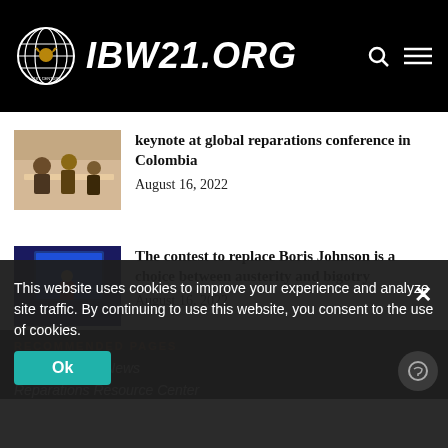IBW21.ORG
keynote at global reparations conference in Colombia
August 16, 2022
The contest to replace Boris Johnson is a choice between austerity and bigotry
August 16, 2022
RECOMMENDED PAGES
Justice Collab News
Reparations Resource Center
This website uses cookies to improve your experience and analyze site traffic. By continuing to use this website, you consent to the use of cookies.